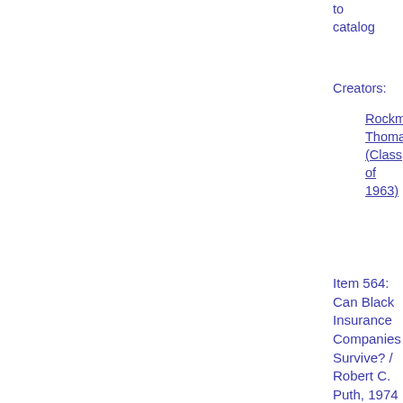to catalog
Creators:
Rockme Thomas (Class of 1963)
Item 564: Can Black Insurance Companies Survive? / Robert C. Puth, 1974
Creator (Author): Robert C. Puth
Originals or Copies Note: photocopy